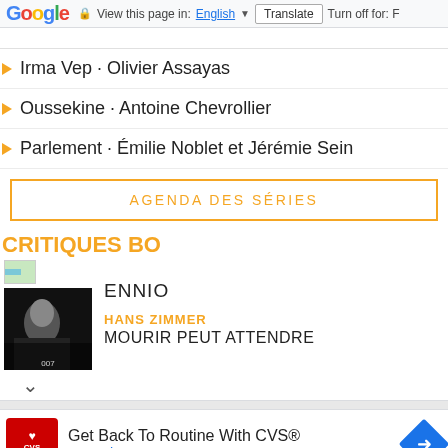Google  View this page in: English  Translate  Turn off for: F
Irma Vep · Olivier Assayas
Oussekine · Antoine Chevrollier
Parlement · Émilie Noblet et Jérémie Sein
AGENDA DES SÉRIES
CRITIQUES BO
ENNIO
HANS ZIMMER
MOURIR PEUT ATTENDRE
[Figure (screenshot): CVS Pharmacy advertisement with CVS logo, text 'Get Back To Routine With CVS®', 'CVS Pharmacy', and a blue navigation/directions diamond icon]